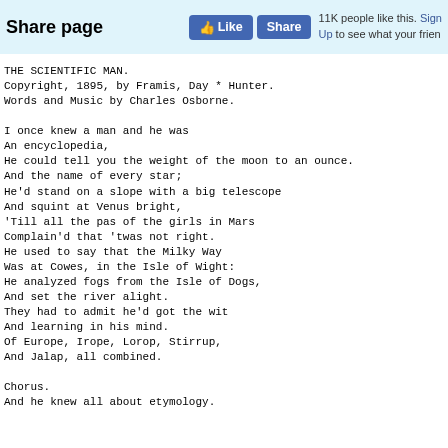Share page  Like  Share  11K people like this. Sign Up to see what your frien
THE SCIENTIFIC MAN.
Copyright, 1895, by Framis, Day * Hunter.
Words and Music by Charles Osborne.

I once knew a man and he was
An encyclopedia,
He could tell you the weight of the moon to an ounce.
And the name of every star;
He'd stand on a slope with a big telescope
And squint at Venus bright,
'Till all the pas of the girls in Mars
Complain'd that 'twas not right.
He used to say that the Milky Way
Was at Cowes, in the Isle of Wight:
He analyzed fogs from the Isle of Dogs,
And set the river alight.
They had to admit he'd got the wit
And learning in his mind.
Of Europe, Irope, Lorop, Stirrup,
And Jalap, all combined.

Chorus.
And he knew all about etymology.